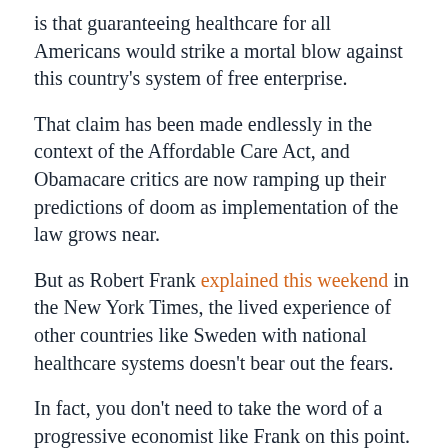is that guaranteeing healthcare for all Americans would strike a mortal blow against this country's system of free enterprise.
That claim has been made endlessly in the context of the Affordable Care Act, and Obamacare critics are now ramping up their predictions of doom as implementation of the law grows near.
But as Robert Frank explained this weekend in the New York Times, the lived experience of other countries like Sweden with national healthcare systems doesn't bear out the fears.
In fact, you don't need to take the word of a progressive economist like Frank on this point. The Heritage Foundation's research indicates the same thing.
Consider Heritage's “Index of Economic Freedom,” which measures how friendly countries are to business, investors, and property rights.